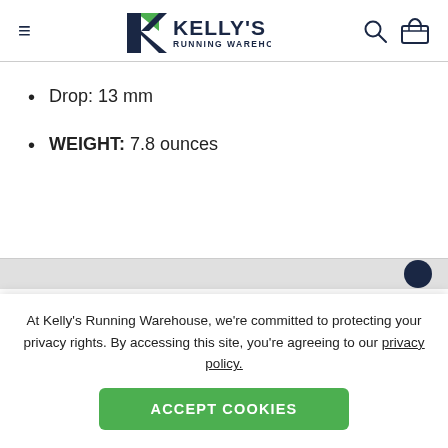Kelly's Running Warehouse
Drop: 13 mm
WEIGHT: 7.8 ounces
At Kelly's Running Warehouse, we're committed to protecting your privacy rights. By accessing this site, you're agreeing to our privacy policy.
ACCEPT COOKIES